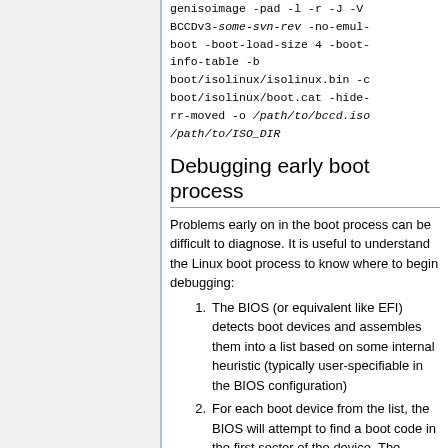genisoimage -pad -l -r -J -V BCCDv3-some-svn-rev -no-emul-boot -boot-load-size 4 -boot-info-table -b boot/isolinux/isolinux.bin -c boot/isolinux/boot.cat -hide-rr-moved -o /path/to/bccd.iso /path/to/ISO_DIR
Debugging early boot process
Problems early on in the boot process can be difficult to diagnose. It is useful to understand the Linux boot process to know where to begin debugging:
The BIOS (or equivalent like EFI) detects boot devices and assembles them into a list based on some internal heuristic (typically user-specifiable in the BIOS configuration)
For each boot device from the list, the BIOS will attempt to find a boot code in the first sector of the device. The